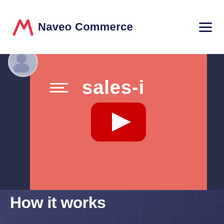Naveo Commerce
[Figure (screenshot): YouTube video thumbnail with salmon/coral red background showing the sales-i logo (three horizontal lines icon followed by 'sales-i' text in white). A red YouTube play button is centered over the thumbnail. Dark background sections flank the video. A circular avatar is visible at top-left of the video area.]
How it works